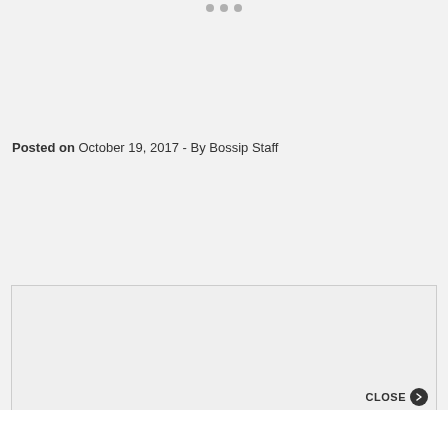• • •
Posted on October 19, 2017 - By Bossip Staff
[Figure (other): Advertisement placeholder box with close button]
CLOSE ›